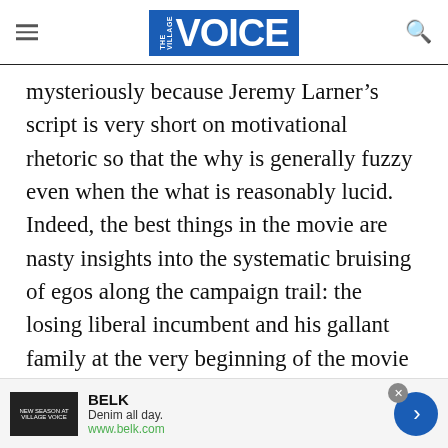the village VOICE
mysteriously because Jeremy Larner’s script is very short on motivational rhetoric so that the why is generally fuzzy even when the what is reasonably lucid. Indeed, the best things in the movie are nasty insights into the systematic bruising of egos along the campaign trail: the losing liberal incumbent and his gallant family at the very beginning of the movie suggesting nothing so much as the faintly comical notion that a family that poses together too much for television begins to look too much alike for real
[Figure (other): BELK advertisement banner: image placeholder on left, BELK brand name in bold, tagline 'Denim all day.', URL 'www.belk.com', close button, and blue circular arrow button on right.]